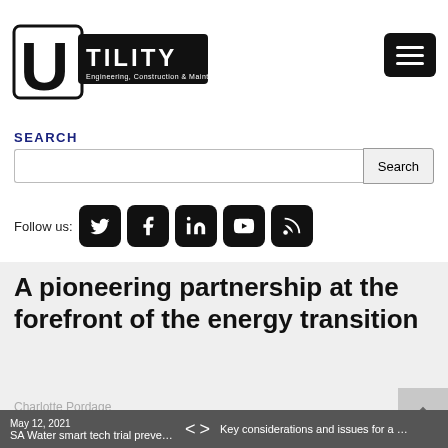[Figure (logo): Utility Magazine logo — large U letterform with 'TILITY' in bold white on black background. Subtitle: Engineering, Construction & Maintenance]
[Figure (other): Hamburger menu button (three white lines on black rounded rectangle)]
SEARCH
[Figure (other): Search input box and Search button]
Follow us:
[Figure (other): Social media icons: Twitter, Facebook, LinkedIn, YouTube, RSS]
A pioneering partnership at the forefront of the energy transition
Charlotte Pordage
SA Water smart tech trial prevents sewer ... < > Key considerations and issues for a suc...